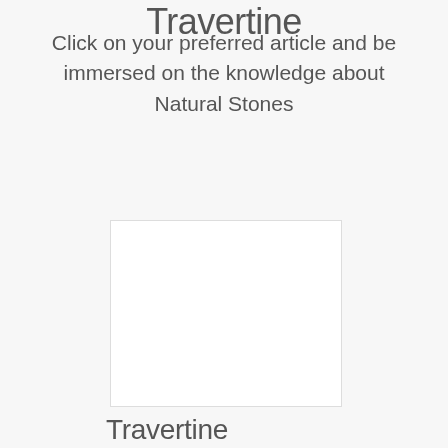Travertine
Click on your preferred article and be immersed on the knowledge about Natural Stones
[Figure (photo): White/blank image placeholder for a natural stone article]
Travertine